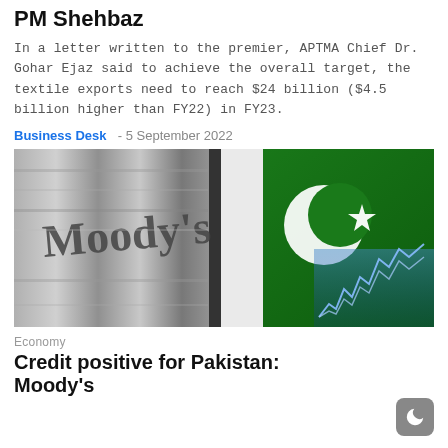PM Shehbaz
In a letter written to the premier, APTMA Chief Dr. Gohar Ejaz said to achieve the overall target, the textile exports need to reach $24 billion ($4.5 billion higher than FY22) in FY23.
Business Desk  - 5 September 2022
[Figure (photo): Composite image showing Moody's metallic sign on the left and Pakistan's green flag with crescent and star on the right, with a blue financial chart overlay.]
Economy
Credit positive for Pakistan: Moody's